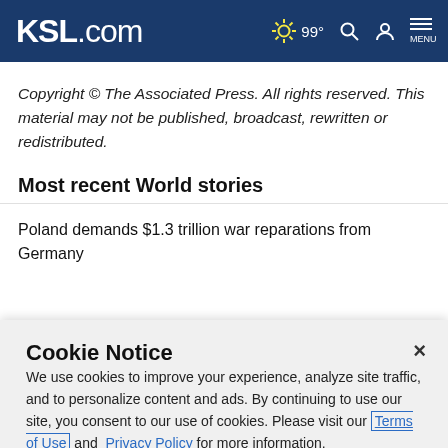KSL.com — 99° weather, search, account, menu
Copyright © The Associated Press. All rights reserved. This material may not be published, broadcast, rewritten or redistributed.
Most recent World stories
Poland demands $1.3 trillion war reparations from Germany
Cookie Notice
We use cookies to improve your experience, analyze site traffic, and to personalize content and ads. By continuing to use our site, you consent to our use of cookies. Please visit our Terms of Use and Privacy Policy for more information.
Continue